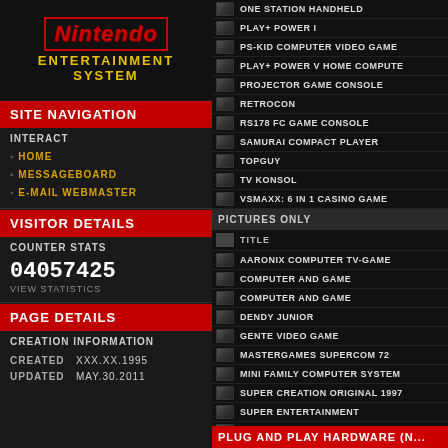[Figure (logo): Nintendo Entertainment System logo with red Nintendo text in border and yellow ENTERTAINMENT SYSTEM text below]
SITE NAVIGATION
INTERACT
HOME
MESSAGEBOARD
E-MAIL WEBMASTER
VISITOR DETAILS
COUNTER STATS
04057425
VIEW STATISTICS
PAGE DETAILS
CREATION INFORMATION
CREATED    XXX.XX.1995
UPDATED    MAY.30.2011
ONE STATION HANDHELD
PLAY+ POWER I
PS-KID COMPUTER VIDEO GAME
PLAY+ POWER V HOME COMPUTE
PROJECTOR GAME CONSOLE
RETROCON
RS178 FC GAME CONSOLE
SAMURAI COMPACT PLAYER
TOPGUY
TV KONSOL
VSMAXX: 6 IN 1 CASINO GAME
PICTURES ONLY
TITLE
AARONIX COMPUTER TV-GAME
COMPUTER AND GAME
COMPUTER AND GAME
DENDY JUNIOR
GENTE VIDEO GAME
MASTERGAMES SUPERCOM 72
MINI FAMILY COMPUTER SYSTEM
SUPER CREATION ORIGINAL 1997
SUPER ENTERTAINMENT
TRANSPERRANT MINI FAMICOM
UFO
PLUG AND PLAY HARDWARE (N...